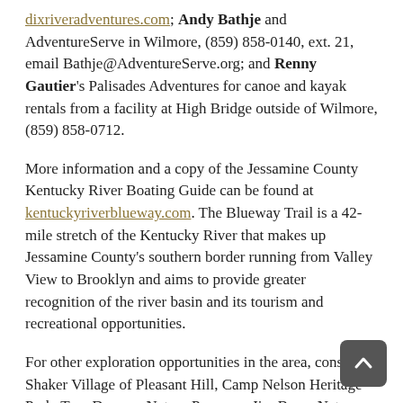dixriveradventures.com; Andy Bathje and AdventureServe in Wilmore, (859) 858-0140, ext. 21, email Bathje@AdventureServe.org; and Renny Gautier's Palisades Adventures for canoe and kayak rentals from a facility at High Bridge outside of Wilmore, (859) 858-0712.
More information and a copy of the Jessamine County Kentucky River Boating Guide can be found at kentuckyriverblueway.com. The Blueway Trail is a 42-mile stretch of the Kentucky River that makes up Jessamine County's southern border running from Valley View to Brooklyn and aims to provide greater recognition of the river basin and its tourism and recreational opportunities.
For other exploration opportunities in the area, consider Shaker Village of Pleasant Hill, Camp Nelson Heritage Park, Tom Dorman Nature Preserve, Jim Beam Nature Preserve, Raven Run Nature Sanctuary, nearby distillery tours and Hickman Creek. Visit kentuckytourism.com for additional ideas.